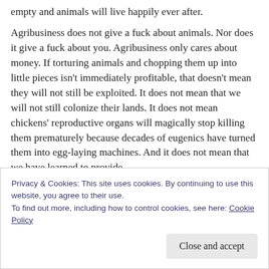empty and animals will live happily ever after.
Agribusiness does not give a fuck about animals. Nor does it give a fuck about you. Agribusiness only cares about money. If torturing animals and chopping them up into little pieces isn't immediately profitable, that doesn't mean they will not still be exploited. It does not mean that we will not still colonize their lands. It does not mean chickens' reproductive organs will magically stop killing them prematurely because decades of eugenics have turned them into egg-laying machines. And it does not mean that we have learned to provide
Privacy & Cookies: This site uses cookies. By continuing to use this website, you agree to their use.
To find out more, including how to control cookies, see here: Cookie Policy